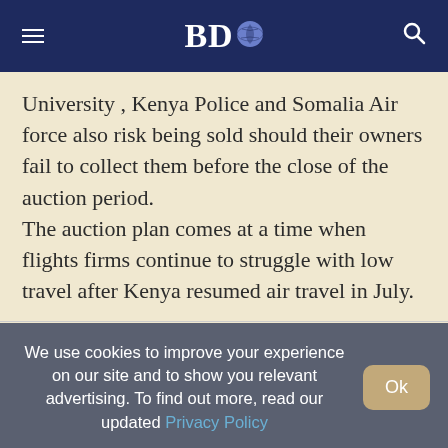BDO
University , Kenya Police and Somalia Air force also risk being sold should their owners fail to collect them before the close of the auction period.
The auction plan comes at a time when flights firms continue to struggle with low travel after Kenya resumed air travel in July.
We use cookies to improve your experience on our site and to show you relevant advertising. To find out more, read our updated Privacy Policy